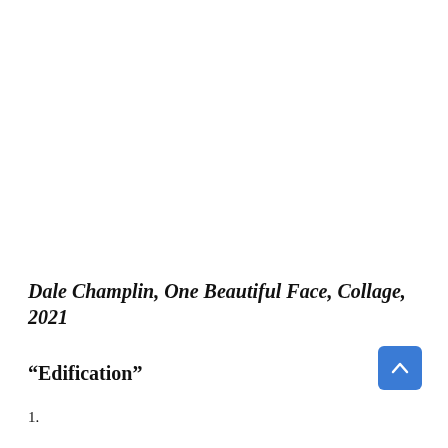Dale Champlin, One Beautiful Face, Collage, 2021
“Edification”
1.